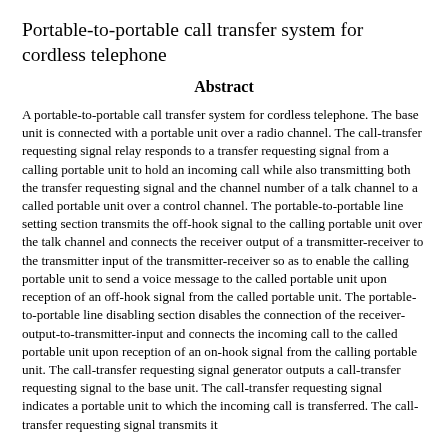Portable-to-portable call transfer system for cordless telephone
Abstract
A portable-to-portable call transfer system for cordless telephone. The base unit is connected with a portable unit over a radio channel. The call-transfer requesting signal relay responds to a transfer requesting signal from a calling portable unit to hold an incoming call while also transmitting both the transfer requesting signal and the channel number of a talk channel to a called portable unit over a control channel. The portable-to-portable line setting section transmits the off-hook signal to the calling portable unit over the talk channel and connects the receiver output of a transmitter-receiver to the transmitter input of the transmitter-receiver so as to enable the calling portable unit to send a voice message to the called portable unit upon reception of an off-hook signal from the called portable unit. The portable-to-portable line disabling section disables the connection of the receiver-output-to-transmitter-input and connects the incoming call to the called portable unit upon reception of an on-hook signal from the calling portable unit. The call-transfer requesting signal generator outputs a call-transfer requesting signal to the base unit. The call-transfer requesting signal indicates a portable unit to which the incoming call is transferred. The call-transfer requesting section transmits it